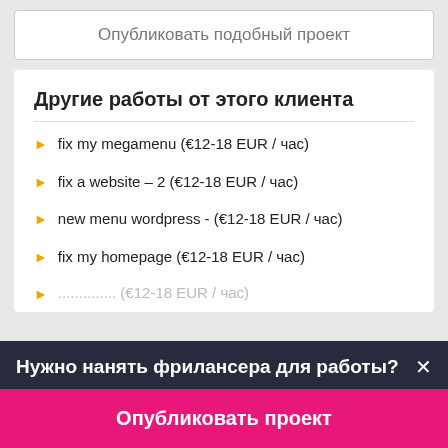Опубликовать подобный проект
Другие работы от этого клиента
fix my megamenu (€12-18 EUR / час)
fix a website – 2 (€12-18 EUR / час)
new menu wordpress - (€12-18 EUR / час)
fix my homepage (€12-18 EUR / час)
Нужно нанять фрилансера для работы?
Опубликовать проект